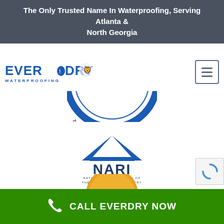The Only Trusted Name In Waterproofing, Serving Atlanta & North Georgia
[Figure (logo): EverDry Waterproofing logo with blue text and mascot character]
[Figure (logo): Waterproofing Specialist circular badge/seal (partial, showing bottom arc)]
[Figure (logo): NARI - National Association of The Remodeling Industry Member logo with blue roof icon]
[Figure (logo): Best badge award logo (partial, showing golden circle with BEST text)]
CALL EVERDRY NOW